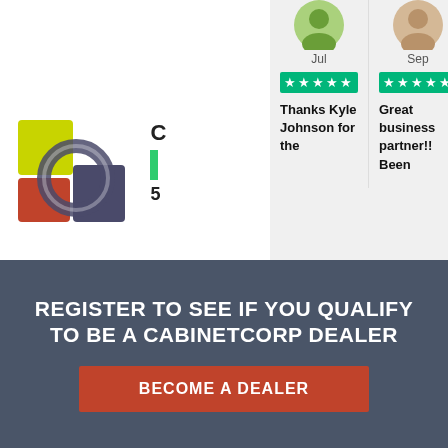[Figure (logo): CabinetCorp logo with colored squares and circles in green, red/orange, dark gray]
[Figure (screenshot): Trustpilot review carousel showing three 5-star reviews: 'Thanks Kyle Johnson for the', 'Great business partner!! Been', 'Very cooperative people to work'. Reviewers shown with avatar icons, months Jul, Sep, Jul.]
REGISTER TO SEE IF YOU QUALIFY TO BE A CABINETCORP DEALER
BECOME A DEALER